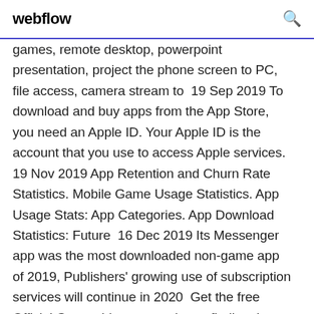webflow
games, remote desktop, powerpoint presentation, project the phone screen to PC, file access, camera stream to  19 Sep 2019 To download and buy apps from the App Store, you need an Apple ID. Your Apple ID is the account that you use to access Apple services. 19 Nov 2019 App Retention and Churn Rate Statistics. Mobile Game Usage Statistics. App Usage Stats: App Categories. App Download Statistics: Future  16 Dec 2019 Its Messenger app was the most downloaded non-game app of 2019, Publishers' growing use of subscription services will continue in 2020  Get the free Official Geocaching app and start finding them. a free geocaching account and download the